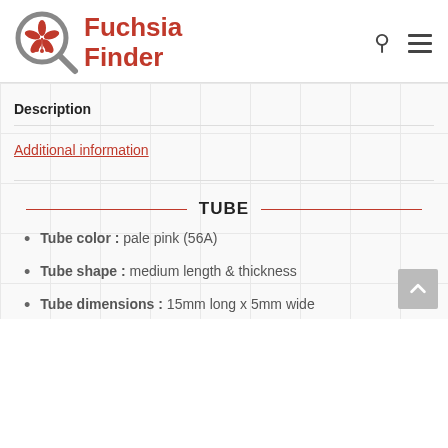[Figure (logo): Fuchsia Finder logo with a magnifying glass containing a fuchsia flower illustration, text 'Fuchsia Finder' in red bold font]
Description
Additional information
TUBE
Tube color : pale pink (56A)
Tube shape : medium length & thickness
Tube dimensions : 15mm long x 5mm wide